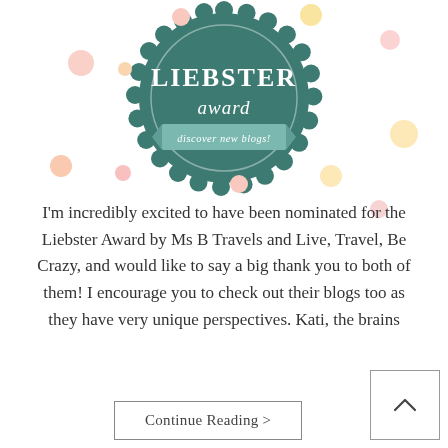[Figure (illustration): Liebster Award badge — a dark teal scalloped circular seal with 'LIEBSTER' in large white serif letters, 'award' in white script below, and a banner reading 'discover new blogs!' at the bottom. Colorful confetti dots (pink, yellow, peach, light yellow) scattered around the badge on a white background.]
I'm incredibly excited to have been nominated for the Liebster Award by Ms B Travels and Live, Travel, Be Crazy, and would like to say a big thank you to both of them! I encourage you to check out their blogs too as they have very unique perspectives. Kati, the brains
Continue Reading >